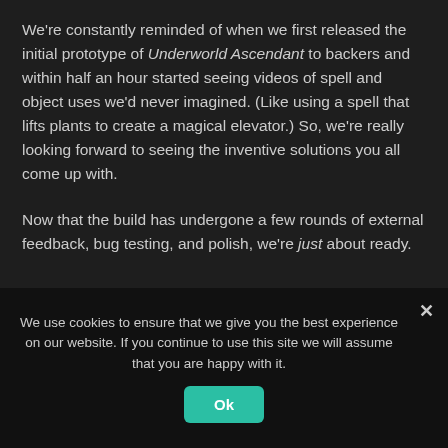We're constantly reminded of when we first released the initial prototype of Underworld Ascendant to backers and within half an hour started seeing videos of spell and object uses we'd never imagined. (Like using a spell that lifts plants to create a magical elevator.) So, we're really looking forward to seeing the inventive solutions you all come up with.
Now that the build has undergone a few rounds of external feedback, bug testing, and polish, we're just about ready.
We use cookies to ensure that we give you the best experience on our website. If you continue to use this site we will assume that you are happy with it.